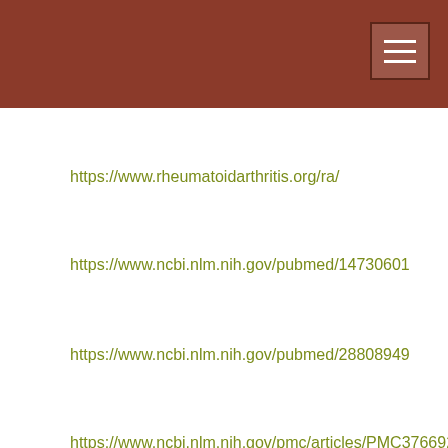https://www.rheumatoidarthritis.org/ra/
https://www.ncbi.nlm.nih.gov/pubmed/14730601
https://www.ncbi.nlm.nih.gov/pubmed/28808949
https://www.ncbi.nlm.nih.gov/pmc/articles/PMC3766928/
https://www.ncbi.nlm.nih.gov/pmc/articles/PMC292196